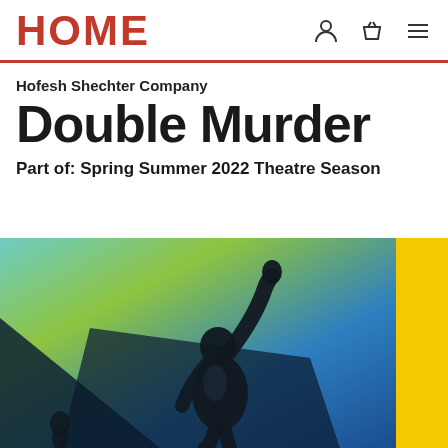HOME
Hofesh Shechter Company
Double Murder
Part of: Spring Summer 2022 Theatre Season
[Figure (photo): Stage performance photo showing a dancer silhouette with arm raised against a colorful background of teal, green, blue and yellow panels]